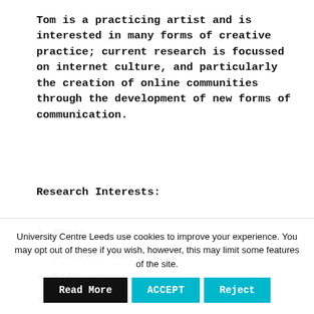Tom is a practicing artist and is interested in many forms of creative practice; current research is focussed on internet culture, and particularly the creation of online communities through the development of new forms of communication.
Research Interests:
Memes
Internet culture
Folk art
Surveillance
University Centre Leeds use cookies to improve your experience. You may opt out of these if you wish, however, this may limit some features of the site.